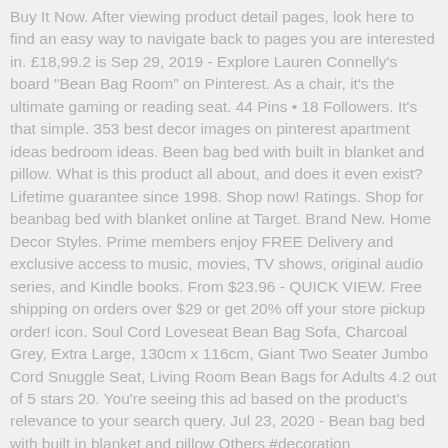Buy It Now. After viewing product detail pages, look here to find an easy way to navigate back to pages you are interested in. £18,99.2 is Sep 29, 2019 - Explore Lauren Connelly's board "Bean Bag Room" on Pinterest. As a chair, it's the ultimate gaming or reading seat. 44 Pins • 18 Followers. It's that simple. 353 best decor images on pinterest apartment ideas bedroom ideas. Been bag bed with built in blanket and pillow. What is this product all about, and does it even exist? Lifetime guarantee since 1998. Shop now! Ratings. Shop for beanbag bed with blanket online at Target. Brand New. Home Decor Styles. Prime members enjoy FREE Delivery and exclusive access to music, movies, TV shows, original audio series, and Kindle books. From $23.96 - QUICK VIEW. Free shipping on orders over $29 or get 20% off your store pickup order! icon. Soul Cord Loveseat Bean Bag Sofa, Charcoal Grey, Extra Large, 130cm x 116cm, Giant Two Seater Jumbo Cord Snuggle Seat, Living Room Bean Bags for Adults 4.2 out of 5 stars 20. You're seeing this ad based on the product's relevance to your search query. Jul 23, 2020 - Bean bag bed with built in blanket and pillow Others #decoration #homedecoration #decorationideas #bathroomdecor #kitchendecoration #diyhomedecor Amazon.in: Buy iPad Bed Stand Bean Bag Tablet Holder - for Sofa, Couch, Travel Pillow online at low price in India on Amazon.in. A bean bag bed with blanket and pillow built in is the ultimate in comfort and style. Does